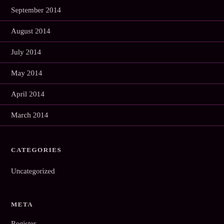September 2014
August 2014
July 2014
May 2014
April 2014
March 2014
CATEGORIES
Uncategorized
META
Register